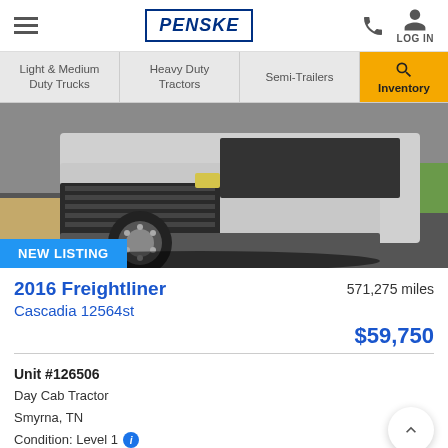PENSKE — Navigation header with hamburger menu, phone icon, and LOG IN
Light & Medium Duty Trucks | Heavy Duty Tractors | Semi-Trailers | Inventory (search)
[Figure (photo): Front/underside view of a white Freightliner Cascadia semi truck, with a blue 'NEW LISTING' badge in the lower left corner]
2016 Freightliner
Cascadia 12564st
571,275 miles
$59,750
Unit #126506
Day Cab Tractor
Smyrna, TN
Condition: Level 1